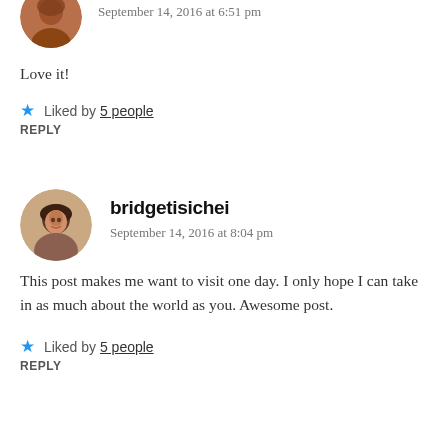[Figure (photo): Partial circular avatar photo of a person, visible at top of page]
September 14, 2016 at 6:51 pm
Love it!
★ Liked by 5 people
REPLY
[Figure (photo): Circular avatar photo of bridgetisichei — woman with dark hair smiling]
bridgetisichei
September 14, 2016 at 8:04 pm
This post makes me want to visit one day. I only hope I can take in as much about the world as you. Awesome post.
★ Liked by 5 people
REPLY